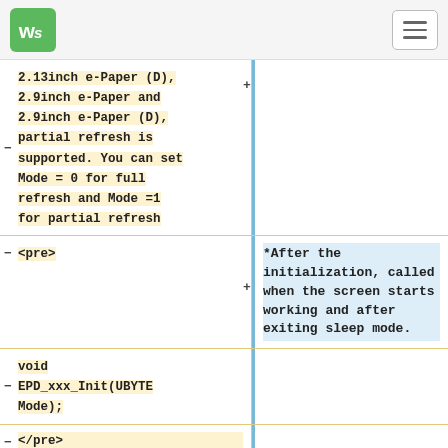WS logo and hamburger menu
2.13inch e-Paper (D), 2.9inch e-Paper and 2.9inch e-Paper (D), partial refresh is supported. You can set Mode = 0 for full refresh and Mode =1 for partial refresh
<pre>
*After the initialization, called when the screen starts working and after exiting sleep mode.
void EPD_xxx_Init(UBYTE Mode);
</pre>